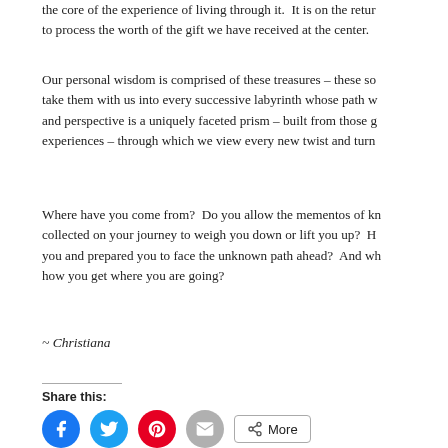the core of the experience of living through it.  It is on the return to process the worth of the gift we have received at the center.
Our personal wisdom is comprised of these treasures – these so take them with us into every successive labyrinth whose path w and perspective is a uniquely faceted prism – built from those g experiences – through which we view every new twist and turn
Where have you come from?  Do you allow the mementos of kn collected on your journey to weigh you down or lift you up?  H you and prepared you to face the unknown path ahead?  And wh how you get where you are going?
~ Christiana
Share this: